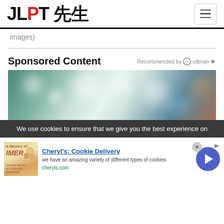JLPT 先生
images)
Sponsored Content
Recommended by Outbrain
[Figure (photo): Blurred bokeh background photo with warm and cool tones, showing a blurred indoor scene]
We use cookies to ensure that we give you the best experience on
[Figure (photo): Advertisement for Cheryl's Cookie Delivery showing summer cookie treats image]
Cheryl's: Cookie Delivery
we have an amazing variety of different types of cookies
cheryls.com